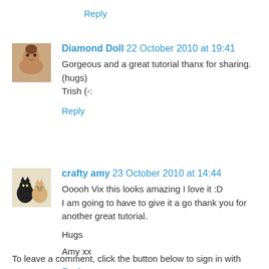Reply
Diamond Doll 22 October 2010 at 19:41
Gorgeous and a great tutorial thanx for sharing.
(hugs)
Trish (-:
Reply
crafty amy 23 October 2010 at 14:44
Ooooh Vix this looks amazing I love it :D
I am going to have to give it a go thank you for another great tutorial.

Hugs

Amy xx
Reply
To leave a comment, click the button below to sign in with